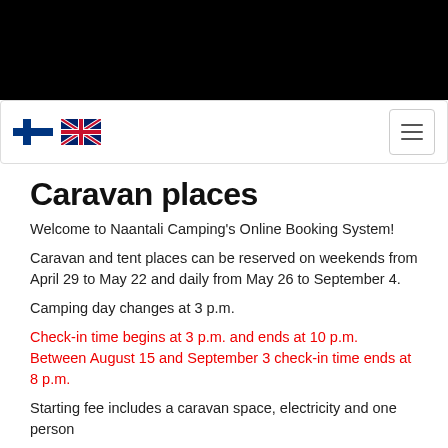Navigation bar with Finnish flag, UK flag, and hamburger menu
Caravan places
Welcome to Naantali Camping's Online Booking System!
Caravan and tent places can be reserved on weekends from April 29 to May 22 and daily from May 26 to September 4.
Camping day changes at 3 p.m.
Check-in time begins at 3 p.m. and ends at 10 p.m. Between August 15 and September 3 check-in time ends at 8 p.m.
Starting fee includes a caravan space, electricity and one person
- Choose dates for arrival and departure.
- You will see a list of available caravan spaces.
- Choose a space that is long enough for your caravan/camper.